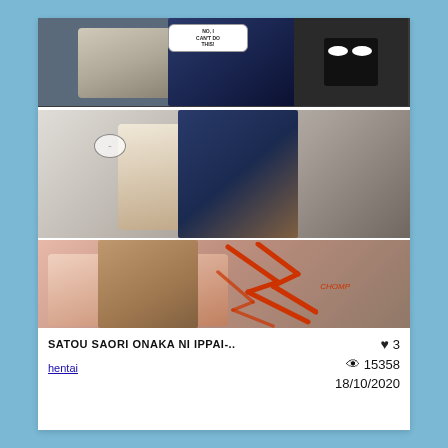[Figure (illustration): Manga/comic panels showing anime characters including a wolf-like creature and human character. Top panel has speech bubble text 'NO, I CAN'T DO THIS!', middle panel shows characters with a small speech circle, bottom panel shows action scene with red lightning effects and 'CHOMP' text.]
SATOU SAORI ONAKA NI IPPAI-..
hentai
3
15358
18/10/2020